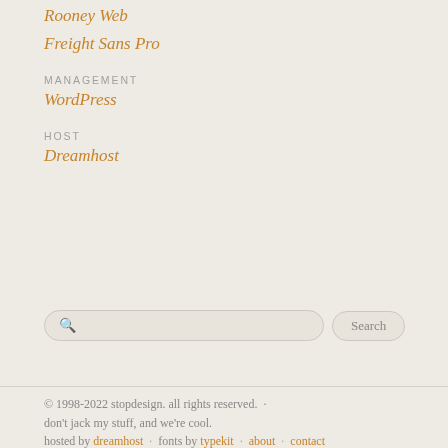Rooney Web
Freight Sans Pro
MANAGEMENT
WordPress
HOST
Dreamhost
Search
© 1998-2022 stopdesign. all rights reserved. · don't jack my stuff, and we're cool. hosted by dreamhost · fonts by typekit · about · contact